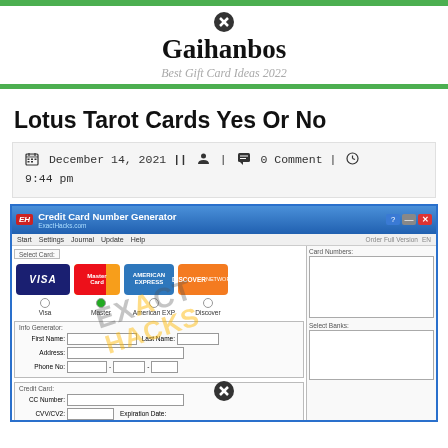Gaihanbos — Best Gift Card Ideas 2022
Lotus Tarot Cards Yes Or No
December 14, 2021 || | 0 Comment | 9:44 pm
[Figure (screenshot): Screenshot of a Credit Card Number Generator desktop application (ExactHacks.com) showing VISA, MasterCard, American Express, and Discover card options with an Info Generator form section and a watermark overlay reading EXACT HACKS.]